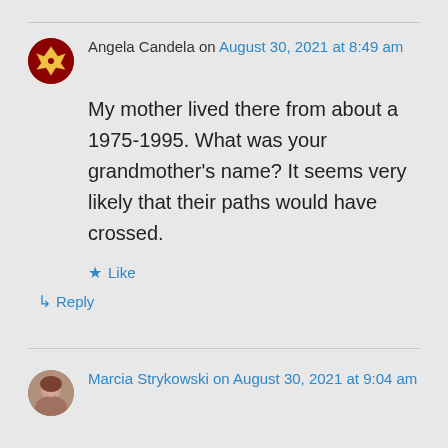Angela Candela on August 30, 2021 at 8:49 am

My mother lived there from about a 1975-1995. What was your grandmother's name? It seems very likely that their paths would have crossed.

★ Like
↳ Reply
Marcia Strykowski on August 30, 2021 at 9:04 am